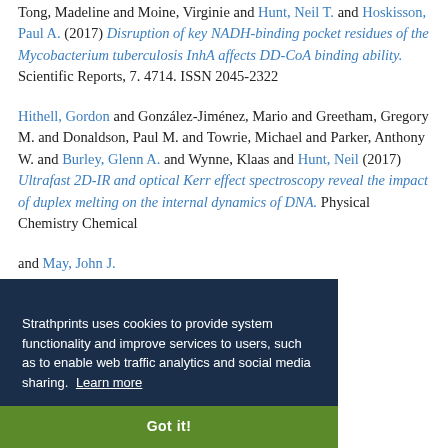Tong, Madeline and Moine, Virginie and Hunt, Neil T. and Hoskisson, Paul A. (2017) Disruption of key NADH-binding pocket residues of the Mycobacterium tuberculosis InhA affects DD-CoA binding ability. Scientific Reports, 7. 4714. ISSN 2045-2322
Hithell, Gordon and González-Jiménez, Mario and Greetham, Gregory M. and Donaldson, Paul M. and Towrie, Michael and Parker, Anthony W. and Burley, Glenn A. and Wynne, Klaas and Hunt, Neil (2017) Ultrafast 2D-IR and optical Kerr effect spectroscopy reveal the impact of duplex melting on the ... of DNA. Physical Chemistry Chemical ...
... and May, John J. ... Paul M. and Towrie, ... Glenn and Hunt, ... timised DNA ...
Strathprints uses cookies to provide system functionality and improve services to users, such as to enable web traffic analytics and social media sharing. Learn more
Got it!